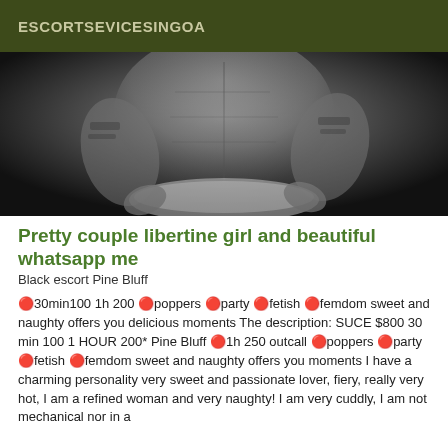ESCORTSEVICESINGOA
[Figure (photo): Black and white close-up photo of a person's torso showing muscular abdomen with tattoos on arms]
Pretty couple libertine girl and beautiful whatsapp me
Black escort Pine Bluff
🔴30min100 1h 200 🔴poppers 🔴party 🔴fetish 🔴femdom sweet and naughty offers you delicious moments The description: SUCE $800 30 min 100 1 HOUR 200* Pine Bluff 🔴1h 250 outcall 🔴poppers 🔴party 🔴fetish 🔴femdom sweet and naughty offers you moments I have a charming personality very sweet and passionate lover, fiery, really very hot, I am a refined woman and very naughty! I am very cuddly, I am not mechanical nor in a